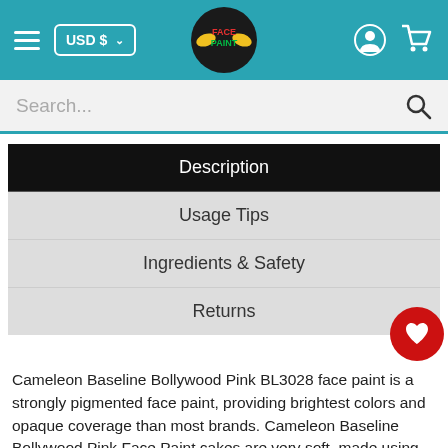USD $ | FACE PAINT [logo] [user icon] [cart icon]
Search...
Description
Usage Tips
Ingredients & Safety
Returns
Cameleon Baseline Bollywood Pink BL3028 face paint is a strongly pigmented face paint, providing brightest colors and opaque coverage than most brands. Cameleon Baseline Bollywood Pink Face Paint cakes are very soft, made using glycerin and paraffin wax based ingredients. This allows for easy application and blending in. Cameleon offers professional quality makeup that stays gentle on skin for longer duration, without any cracking